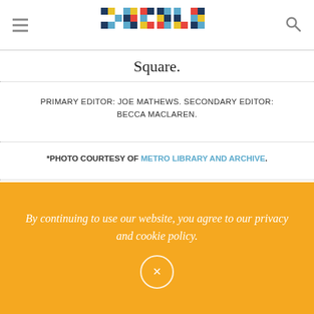Zócalo
Square.
PRIMARY EDITOR: JOE MATHEWS. SECONDARY EDITOR: BECCA MACLAREN.
*PHOTO COURTESY OF METRO LIBRARY AND ARCHIVE.
EXPLORE RELATED CONTENT
DEMOGRAPHICS, LOS ANGELES HISTORY, NEIGHBORHOODS, PUBLIC TRANSIT, THINKING L.A.,
By continuing to use our website, you agree to our privacy and cookie policy.